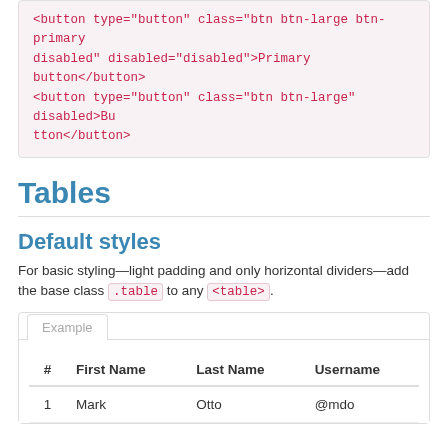<button type="button" class="btn btn-large btn-primary disabled" disabled="disabled">Primary button</button>
<button type="button" class="btn btn-large" disabled>Button</button>
Tables
Default styles
For basic styling—light padding and only horizontal dividers—add the base class .table to any <table>.
| # | First Name | Last Name | Username |
| --- | --- | --- | --- |
| 1 | Mark | Otto | @mdo |